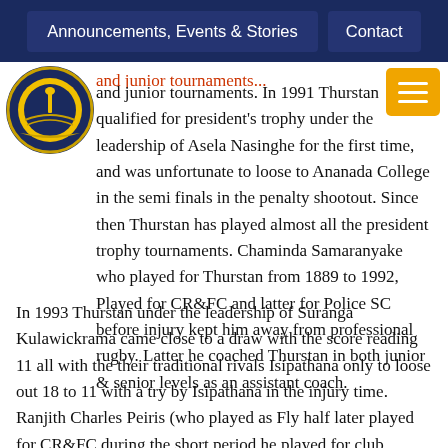Announcements, Events & Stories | Contact
and junior tournaments. In 1991 Thurstan qualified for president's trophy under the leadership of Asela Nasinghe for the first time, and was unfortunate to loose to Ananada College in the semi finals in the penalty shootout. Since then Thurstan has played almost all the president trophy tournaments. Chaminda Samaranyake who played for Thurstan from 1889 to 1992, Played for CR&FC and latter for Police SC before injury kept him away from professional rugby. Latter he coached Thurstan in both junior & senior levels as an assistant coach.
In 1993 Thurstan under the leadership of Suranga Kulawickrama came close to a draw with the score reading 11 all with the their traditional rivals Isipathana only to loose out 18 to 11 with a try by Isipathana in the injury time. Ranjith Charles Peiris (who played as Fly half later played for CR&FC during the short period he played for club rugby), Rishan Thambidhorei